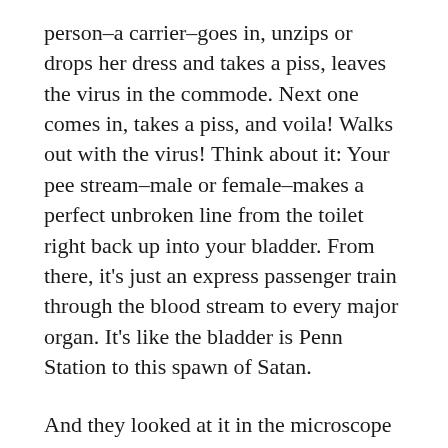person–a carrier–goes in, unzips or drops her dress and takes a piss, leaves the virus in the commode. Next one comes in, takes a piss, and voila! Walks out with the virus! Think about it: Your pee stream–male or female–makes a perfect unbroken line from the toilet right back up into your bladder. From there, it's just an express passenger train through the blood stream to every major organ. It's like the bladder is Penn Station to this spawn of Satan.
And they looked at it in the microscope and found that the knobs on your typical Covid virus appear now to have evolved into something like ten–thousand powerful little paddles, so these demonic little shits can